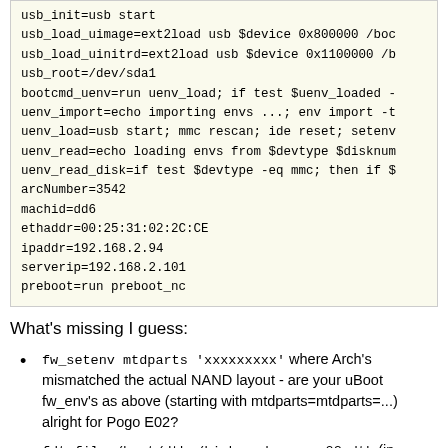usb_init=usb start
usb_load_uimage=ext2load usb $device 0x800000 /boc
usb_load_uinitrd=ext2load usb $device 0x1100000 /b
usb_root=/dev/sda1
bootcmd_uenv=run uenv_load; if test $uenv_loaded -
uenv_import=echo importing envs ...; env import -t
uenv_load=usb start; mmc rescan; ide reset; setenv
uenv_read=echo loading envs from $devtype $disknum
uenv_read_disk=if test $devtype -eq mmc; then if $
arcNumber=3542
machid=dd6
ethaddr=00:25:31:02:2C:CE
ipaddr=192.168.2.94
serverip=192.168.2.101
preboot=run preboot_nc
What's missing I guess:
fw_setenv mtdparts 'xxxxxxxxx' where Arch's mismatched the actual NAND layout - are your uBoot fw_env's as above (starting with mtdparts=mtdparts=...) alright for Pogo E02?
fdt_file=/boot/dtbs/kirkwood-pogo_e02.dtb (in /boot/uEnv.txt, or as: fw_setenv fdt_file '/boot/dtbs/kirkwood-pogo_e02.dtb' ?) in order to enable Arch boot, or Debian?
Stock uBoot if yours needs to chainload for the